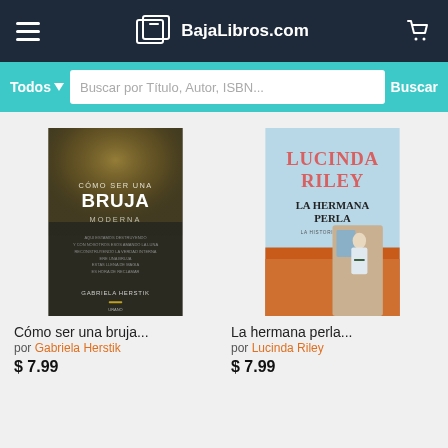BajaLibros.com
Buscar por Título, Autor, ISBN...
[Figure (photo): Book cover: Cómo ser una bruja moderna by Gabriela Herstik. Dark gold/black speckled background with white text.]
Cómo ser una bruja...
por Gabriela Herstik
$ 7.99
[Figure (photo): Book cover: La hermana perla - La historia de CeCe by Lucinda Riley. Light blue background with woman standing at a train window, orange/red landscape.]
La hermana perla...
por Lucinda Riley
$ 7.99